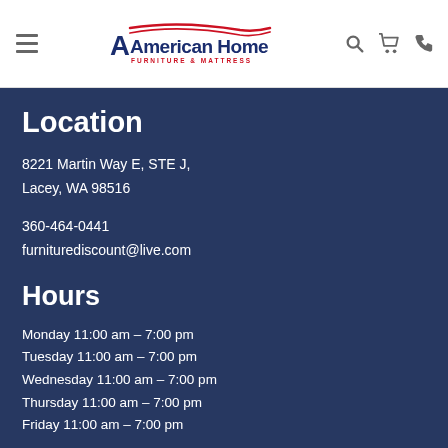[Figure (logo): American Home Furniture & Mattress logo with red swoosh lines above text]
Location
8221 Martin Way E, STE J,
Lacey, WA 98516
360-464-0441
furniturediscount@live.com
Hours
Monday 11:00 am – 7:00 pm
Tuesday 11:00 am – 7:00 pm
Wednesday 11:00 am – 7:00 pm
Thursday 11:00 am – 7:00 pm
Friday 11:00 am – 7:00 pm